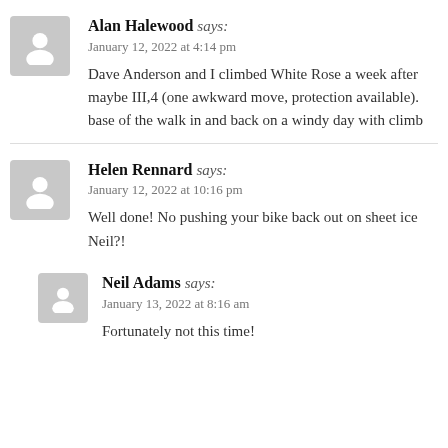Alan Halewood says: January 12, 2022 at 4:14 pm — Dave Anderson and I climbed White Rose a week after maybe III,4 (one awkward move, protection available). base of the walk in and back on a windy day with climb
Helen Rennard says: January 12, 2022 at 10:16 pm — Well done! No pushing your bike back out on sheet ice Neil?!
Neil Adams says: January 13, 2022 at 8:16 am — Fortunately not this time!